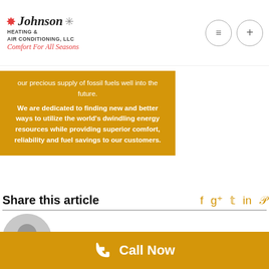[Figure (logo): Johnson Heating & Air Conditioning, LLC logo with sun and snowflake icons and tagline 'Comfort For All Seasons']
our precious supply of fossil fuels well into the future. We are dedicated to finding new and better ways to utilize the world's dwindling energy resources while providing superior comfort, reliability and fuel savings to our customers.
Share this article
rhesse
Call Now